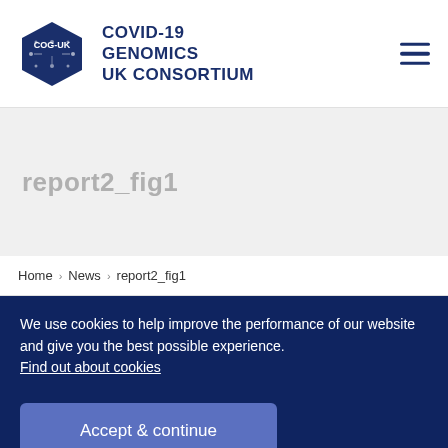[Figure (logo): COG-UK COVID-19 Genomics UK Consortium logo with hexagon icon and organization name]
report2_fig1
Home › News › report2_fig1
We use cookies to help improve the performance of our website and give you the best possible experience. Find out about cookies
Accept & continue